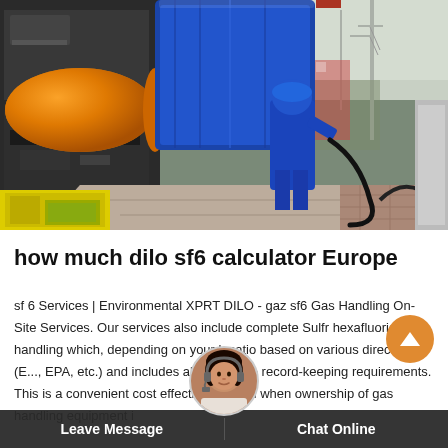[Figure (photo): Industrial SF6 gas handling equipment with a worker in blue protective suit operating machinery at an outdoor substation. Large orange cylindrical tank, yellow industrial equipment, and blue tarpaulin-covered machines visible. Background shows power infrastructure and green landscape.]
how much dilo sf6 calculator Europe
sf 6 Services | Environmental XPRT DILO - gaz sf6 Gas Handling On-Site Services. Our services also include complete Sulfr hexafluoride gas handling which, depending on your location based on various directives (E..., EPA, etc.) and includes all applicable record-keeping requirements. This is a convenient cost effective solution when ownership of gas handling equipment is